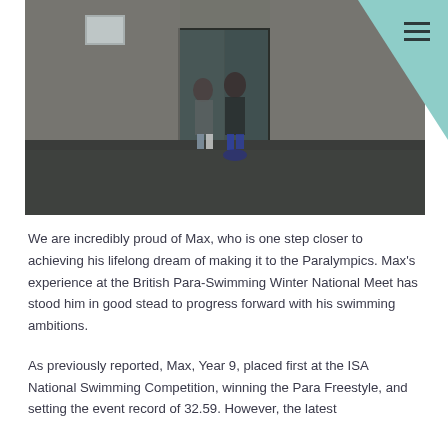[Figure (photo): Outdoor photograph of two people standing in front of a building entrance with glass doors and wooden cladding, taken on a dark paved area.]
We are incredibly proud of Max, who is one step closer to achieving his lifelong dream of making it to the Paralympics. Max's experience at the British Para-Swimming Winter National Meet has stood him in good stead to progress forward with his swimming ambitions.
As previously reported, Max, Year 9, placed first at the ISA National Swimming Competition, winning the Para Freestyle, and setting the event record of 32.59. However, the latest